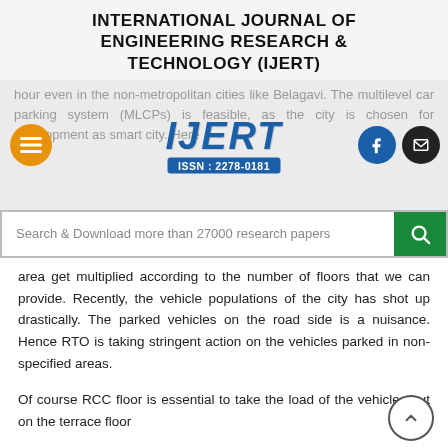INTERNATIONAL JOURNAL OF ENGINEERING RESEARCH & TECHNOLOGY (IJERT)
[Figure (logo): IJERT logo with ISSN: 2278-0181 badge, navigation icons (hamburger menu, Facebook, email), and faded background text about multilevel car parking system in Belagavi]
[Figure (screenshot): Search bar with text 'Search & Download more than 27000 research papers' and green search button]
area get multiplied according to the number of floors that we can provide. Recently, the vehicle populations of the city has shot up drastically. The parked vehicles on the road side is a nuisance. Hence RTO is taking stringent action on the vehicles parked in non-specified areas.
Of course RCC floor is essential to take the load of the vehicles but on the terrace floor